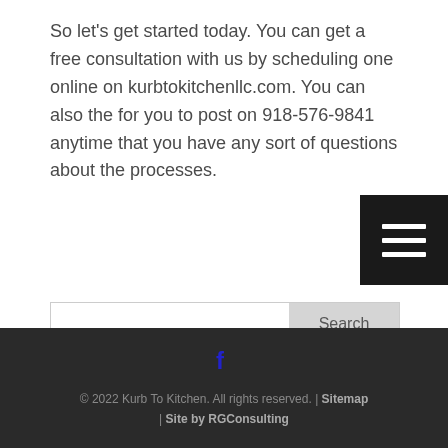So let's get started today. You can get a free consultation with us by scheduling one online on kurbtokitchenllc.com. You can also the for you to post on 918-576-9841 anytime that you have any sort of questions about the processes.
© 2022 Kurb To Kitchen. All rights reserved. | Sitemap | Site by RGConsulting